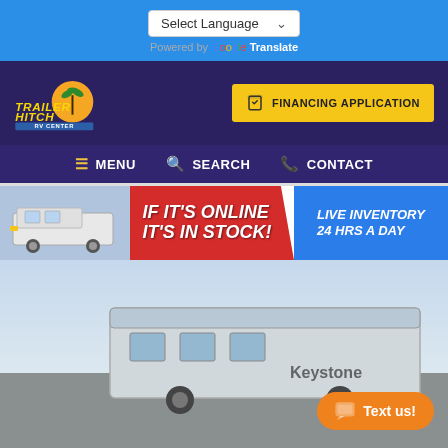[Figure (screenshot): Language selector bar with 'Select Language' dropdown and Google Translate branding on blue background]
[Figure (logo): Trailer Hitch RV Center logo with palm tree and sun graphic, on dark purple background, with yellow Financing Application button]
[Figure (screenshot): Navigation bar with MENU, SEARCH, and CONTACT links on dark purple background]
[Figure (screenshot): Promotional banner: RV image on left, red section saying IF IT'S ONLINE IT'S IN STOCK!, blue section saying LIVE INVENTORY 24 HRS A DAY]
[Figure (photo): Exterior photo of an RV (Keystone brand) against a light sky, with orange Text us! chat button overlay]